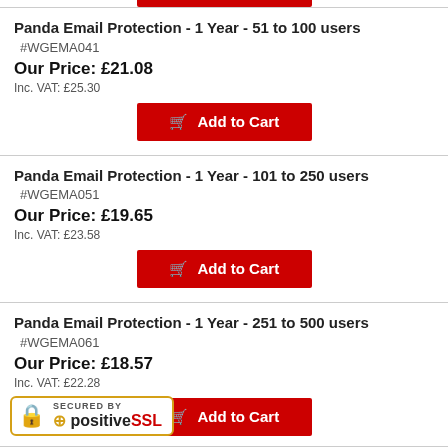Panda Email Protection - 1 Year - 51 to 100 users
#WGEMA041
Our Price: £21.08
Inc. VAT: £25.30
Add to Cart
Panda Email Protection - 1 Year - 101 to 250 users
#WGEMA051
Our Price: £19.65
Inc. VAT: £23.58
Add to Cart
Panda Email Protection - 1 Year - 251 to 500 users
#WGEMA061
Our Price: £18.57
Inc. VAT: £22.28
Add to Cart
Panda Email Protection - 1 Year - 501 to 1000 users (partial)
[Figure (logo): SECURED BY positiveSSL badge with padlock icon, gold border]